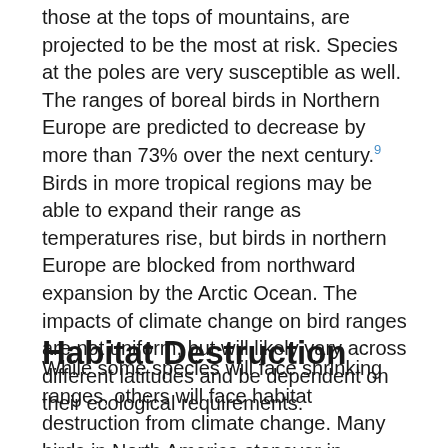those at the tops of mountains, are projected to be the most at risk. Species at the poles are very susceptible as well. The ranges of boreal birds in Northern Europe are predicted to decrease by more than 73% over the next century.⁹ Birds in more tropical regions may be able to expand their range as temperatures rise, but birds in northern Europe are blocked from northward expansion by the Arctic Ocean. The impacts of climate change on bird ranges are not uniform, but will likely vary across different latitudes and be dependent on their ecological requirements.
Habitat Destruction
While some species will face shrinking ranges, others will face habitat destruction from climate change. Many birds in North America stopover in intertidal mud flats during their migrations, where they forage